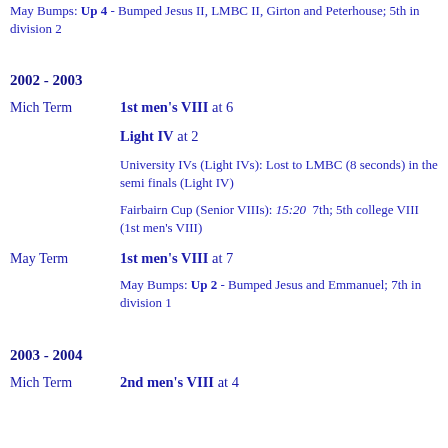May Bumps: Up 4 - Bumped Jesus II, LMBC II, Girton and Peterhouse; 5th in division 2
2002 - 2003
Mich Term   1st men's VIII at 6
Light IV at 2
University IVs (Light IVs): Lost to LMBC (8 seconds) in the semi finals (Light IV)
Fairbairn Cup (Senior VIIIs): 15:20  7th; 5th college VIII (1st men's VIII)
May Term   1st men's VIII at 7
May Bumps: Up 2 - Bumped Jesus and Emmanuel; 7th in division 1
2003 - 2004
Mich Term   2nd men's VIII at 4